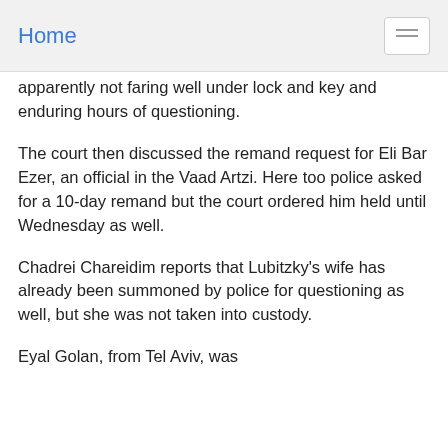Home
apparently not faring well under lock and key and enduring hours of questioning.
The court then discussed the remand request for Eli Bar Ezer, an official in the Vaad Artzi. Here too police asked for a 10-day remand but the court ordered him held until Wednesday as well.
Chadrei Chareidim reports that Lubitzky’s wife has already been summoned by police for questioning as well, but she was not taken into custody.
Eyal Golan, from Tel Aviv, was